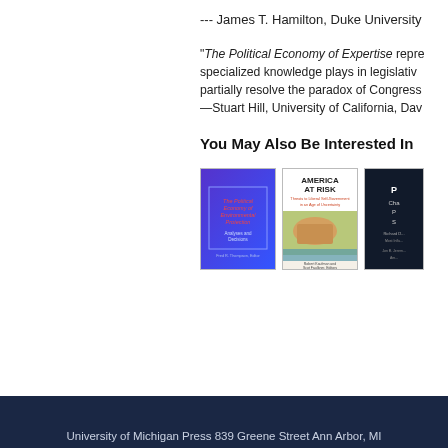--- James T. Hamilton, Duke University
"The Political Economy of Expertise represents... specialized knowledge plays in legislative... partially resolve the paradox of Congress... —Stuart Hill, University of California, Dav...
You May Also Be Interested In
[Figure (illustration): Book cover: The Political Economy of Environmental Protection, purple/blue background]
[Figure (illustration): Book cover: America at Risk - Threats to Liberal Self-Government in an Age of Uncertainty]
[Figure (illustration): Book cover: partially visible dark cover with text about Political Change]
University of Michigan Press 839 Greene Street Ann Arbor, MI...